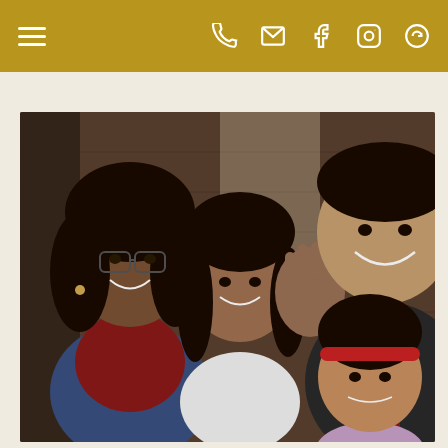Navigation bar with hamburger menu and icons: phone, email, facebook, instagram, and another social icon
[Figure (photo): A family photo showing four people smiling: a woman with glasses and dark hair on the left wearing a denim jacket over red shirt, a teenage girl in the center background, a man on the right smiling and wearing a red and black jacket, and a young girl in the lower right with a red headband. The background shows a wooden panel wall.]